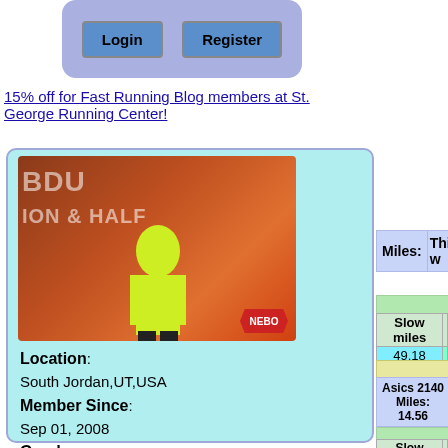[Figure (screenshot): Login and Register buttons in a rounded blue-purple box]
15% off for Fast Running Blog members at St. George Running Center!
[Figure (photo): Profile photo of a runner in a yellow shirt holding medals in front of a red NEBO marathon backdrop]
Location: South Jordan,UT,USA
Member Since: Sep 01, 2008
Gender: Male
Goal Type:
| Miles: | This w |
| --- | --- |
| Slow miles |  |
| --- | --- |
| 49.18 |  |
Asics 2140 Miles: 14.56
| Slow miles |  |
| --- | --- |